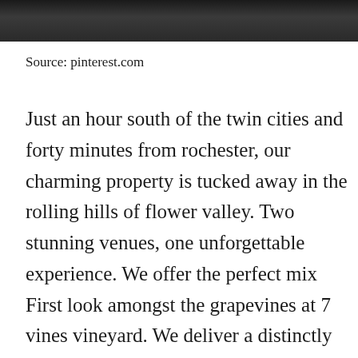[Figure (photo): Partial view of a dark interior photo strip at the top of the page, showing people in a dimly lit room.]
Source: pinterest.com
Just an hour south of the twin cities and forty minutes from rochester, our charming property is tucked away in the rolling hills of flower valley. Two stunning venues, one unforgettable experience. We offer the perfect mix First look amongst the grapevines at 7 vines vineyard. We deliver a distinctly memorable experience through the romantic farm style spaces.